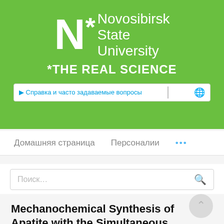[Figure (logo): Novosibirsk State University logo with green background, white N letter, asterisk, and text 'Novosibirsk State University *THE REAL SCIENCE']
Справка и часто задаваемые вопросы
Домашняя страница   Персоналии   ...
Поиск...
Mechanochemical Synthesis of Apatite with the Simultaneous Substitutions of Calcium by Lanthanum and Phosphate by Silicate